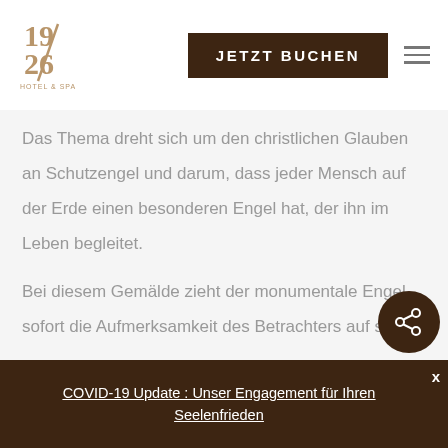[Figure (logo): 1926 Hotel & Spa logo with stylized numbers and text]
JETZT BUCHEN
Das Thema dreht sich um den christlichen Glauben an Schutzengel und darum, dass jeder Mensch auf der Erde einen besonderen Engel hat, der ihn im Leben begleitet.
Bei diesem Gemälde zieht der monumentale Engel sofort die Aufmerksamkeit des Betrachters auf sich.
Die Einzel...
COVID-19 Update : Unser Engagement für Ihren Seelenfrieden